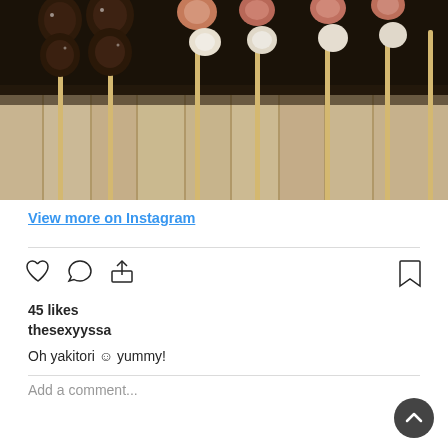[Figure (photo): Instagram photo of yakitori (grilled meat and vegetable skewers) on wooden sticks arranged on a wooden board, viewed from above. Dark grilled meat on left skewers, lighter vegetables/mushrooms on right skewers.]
View more on Instagram
45 likes
thesexyyssa
Oh yakitori ☺ yummy!
Add a comment...